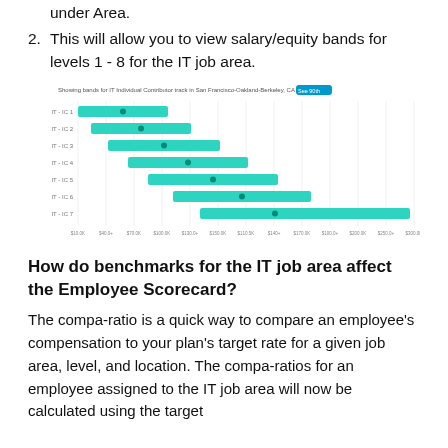under Area.
2. This will allow you to view salary/equity bands for levels 1 - 8 for the IT job area.
[Figure (bar-chart): Horizontal bar chart showing salary bands for IT-IC1 through IT-IC7 levels, with teal/green bars indicating salary ranges progressing upward across levels. X-axis shows salary values from $10.0K to $300K+.]
How do benchmarks for the IT job area affect the Employee Scorecard?
The compa-ratio is a quick way to compare an employee's compensation to your plan's target rate for a given job area, level, and location. The compa-ratios for an employee assigned to the IT job area will now be calculated using the target